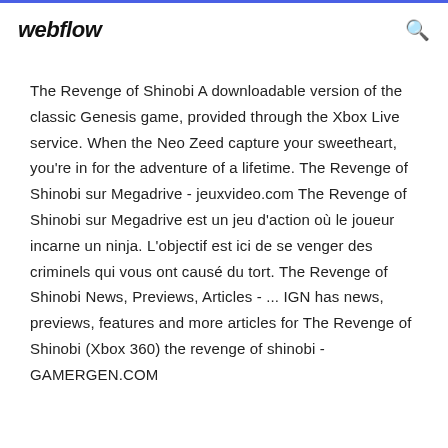webflow
The Revenge of Shinobi A downloadable version of the classic Genesis game, provided through the Xbox Live service. When the Neo Zeed capture your sweetheart, you're in for the adventure of a lifetime. The Revenge of Shinobi sur Megadrive - jeuxvideo.com The Revenge of Shinobi sur Megadrive est un jeu d'action où le joueur incarne un ninja. L'objectif est ici de se venger des criminels qui vous ont causé du tort. The Revenge of Shinobi News, Previews, Articles - ... IGN has news, previews, features and more articles for The Revenge of Shinobi (Xbox 360) the revenge of shinobi - GAMERGEN.COM